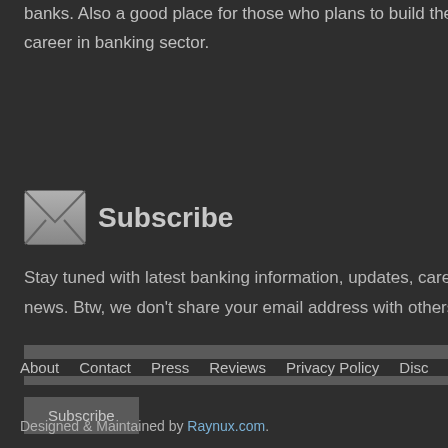banks. Also a good place for those who plans to build their career in banking sector.
Subscribe
Stay tuned with latest banking information, updates, career tips & news. Btw, we don't share your email address with others.
About   Contact   Press   Reviews   Privacy Policy   Disclaimer   T
Designed & Maintained by Raynux.com.